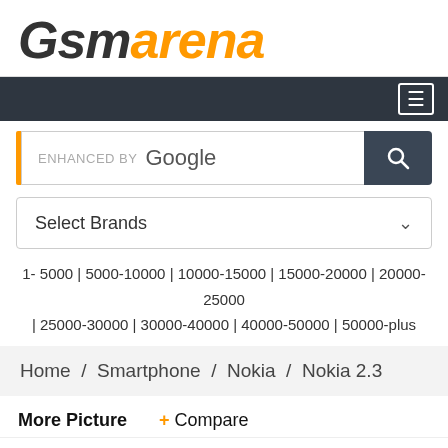[Figure (logo): GSMArena logo with 'GSM' in dark gray italic and 'ARENA' in orange italic]
Navigation bar with hamburger menu icon
ENHANCED BY Google (search box)
Select Brands
1- 5000 | 5000-10000 | 10000-15000 | 15000-20000 | 20000-25000 | 25000-30000 | 30000-40000 | 40000-50000 | 50000-plus
Home / Smartphone / Nokia / Nokia 2.3
More Picture   + Compare